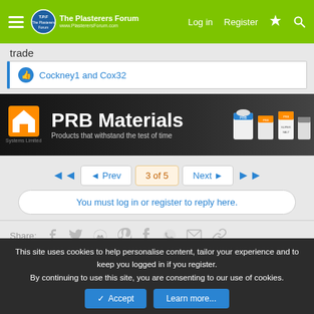The Plasterers Forum — Log in | Register
trade
Cockney1 and Cox32
[Figure (logo): PRB Materials banner advertisement — black background with orange house logo, bold white 'PRB Materials' text, tagline 'Products that withstand the test of time', and product images on the right]
◄◄   ◄ Prev   3 of 5   Next ►   ►►
You must log in or register to reply here.
Share:
This site uses cookies to help personalise content, tailor your experience and to keep you logged in if you register. By continuing to use this site, you are consenting to our use of cookies.
✓ Accept   Learn more...